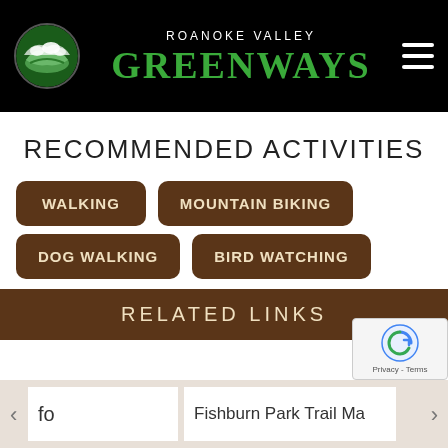ROANOKE VALLEY GREENWAYS
RECOMMENDED ACTIVITIES
WALKING
MOUNTAIN BIKING
DOG WALKING
BIRD WATCHING
RELATED LINKS
fo
Fishburn Park Trail Ma